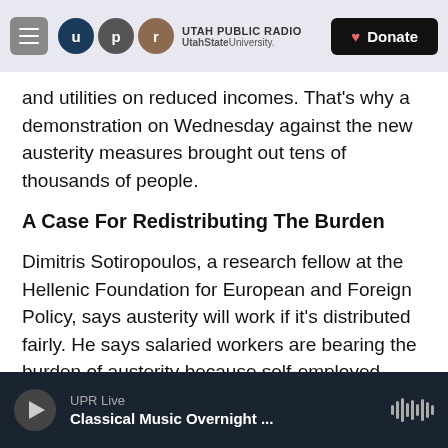Utah Public Radio | UtahStateUniversity. | Donate
and utilities on reduced incomes. That's why a demonstration on Wednesday against the new austerity measures brought out tens of thousands of people.
A Case For Redistributing The Burden
Dimitris Sotiropoulos, a research fellow at the Hellenic Foundation for European and Foreign Policy, says austerity will work if it's distributed fairly. He says salaried workers are bearing the burden of austerity because self-employed workers — who make up about a third of the workforce — largely evade taxes.
UPR Live | Classical Music Overnight ...